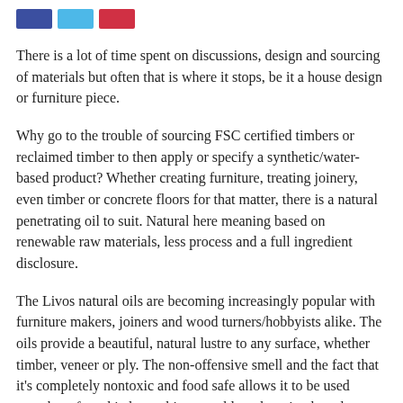[Figure (other): Three colored social share buttons: dark blue, light blue, and red/pink]
There is a lot of time spent on discussions, design and sourcing of materials but often that is where it stops, be it a house design or furniture piece.
Why go to the trouble of sourcing FSC certified timbers or reclaimed timber to then apply or specify a synthetic/water-based product? Whether creating furniture, treating joinery, even timber or concrete floors for that matter, there is a natural penetrating oil to suit. Natural here meaning based on renewable raw materials, less process and a full ingredient disclosure.
The Livos natural oils are becoming increasingly popular with furniture makers, joiners and wood turners/hobbyists alike. The oils provide a beautiful, natural lustre to any surface, whether timber, veneer or ply. The non-offensive smell and the fact that it's completely nontoxic and food safe allows it to be used anywhere from kitchen cabinetry, tables, chopping boards even to teething rings and children's toys.
The Kunos natural oil sealer comes in a range of penetrating stains.